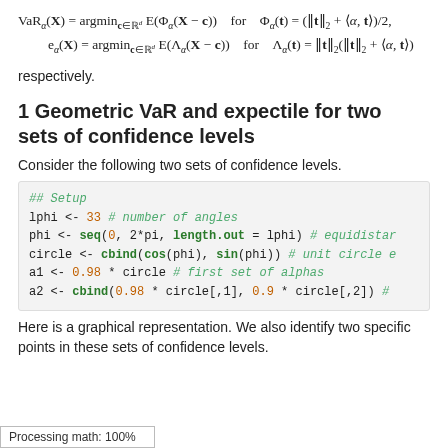respectively.
1 Geometric VaR and expectile for two sets of confidence levels
Consider the following two sets of confidence levels.
## Setup
lphi <- 33 # number of angles
phi <- seq(0, 2*pi, length.out = lphi) # equidistant...
circle <- cbind(cos(phi), sin(phi)) # unit circle e...
a1 <- 0.98 * circle # first set of alphas
a2 <- cbind(0.98 * circle[,1], 0.9 * circle[,2]) #...
Here is a graphical representation. We also identify two specific points in these sets of confidence levels.
Processing math: 100%